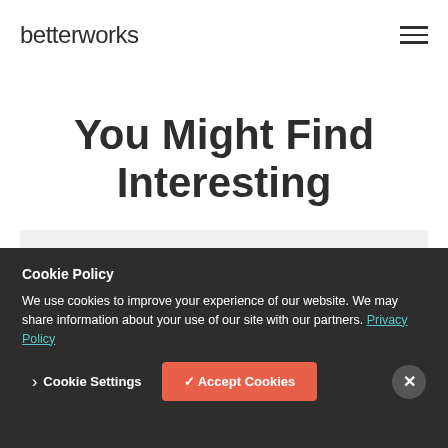betterworks
You Might Find Interesting
Cookie Policy
We use cookies to improve your experience of our website. We may share information about your use of our site with our partners. Privacy Policy
Cookie Settings  ✓ Accept Cookies  ✕